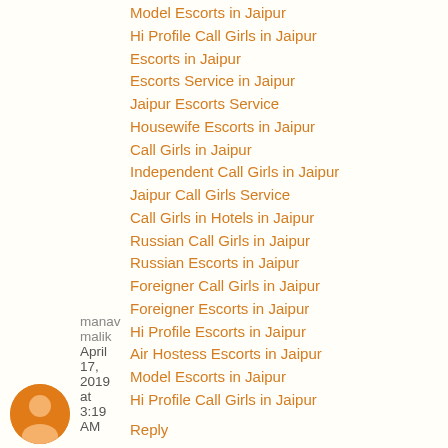Model Escorts in Jaipur
Hi Profile Call Girls in Jaipur
Escorts in Jaipur
Escorts Service in Jaipur
Jaipur Escorts Service
Housewife Escorts in Jaipur
Call Girls in Jaipur
Independent Call Girls in Jaipur
Jaipur Call Girls Service
Call Girls in Hotels in Jaipur
Russian Call Girls in Jaipur
Russian Escorts in Jaipur
Foreigner Call Girls in Jaipur
Foreigner Escorts in Jaipur
Hi Profile Escorts in Jaipur
Air Hostess Escorts in Jaipur
Model Escorts in Jaipur
Hi Profile Call Girls in Jaipur
Reply
manav malik  April 17, 2019 at 3:19 AM